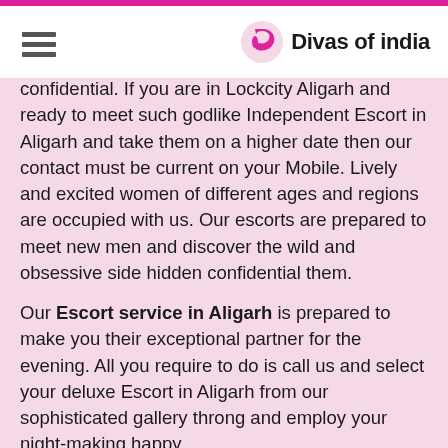Divas of india
confidential. If you are in Lockcity Aligarh and ready to meet such godlike Independent Escort in Aligarh and take them on a higher date then our contact must be current on your Mobile. Lively and excited women of different ages and regions are occupied with us. Our escorts are prepared to meet new men and discover the wild and obsessive side hidden confidential them.
Our Escort service in Aligarh is prepared to make you their exceptional partner for the evening. All you require to do is call us and select your deluxe Escort in Aligarh from our sophisticated gallery throng and employ your night-making happy.
Why Our Escorts in Aligarh Are The Best?
In Aligarh, you will easily find tons of agencies